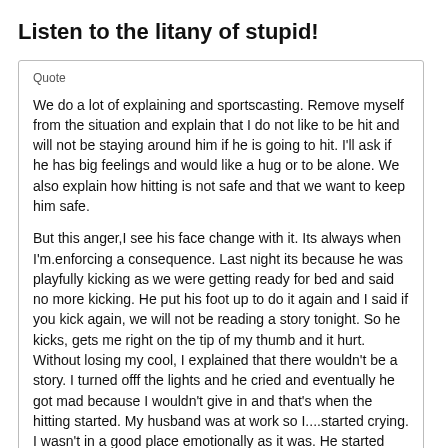Listen to the litany of stupid!
Quote
We do a lot of explaining and sportscasting. Remove myself from the situation and explain that I do not like to be hit and will not be staying around him if he is going to hit. I'll ask if he has big feelings and would like a hug or to be alone. We also explain how hitting is not safe and that we want to keep him safe.
But this anger,I see his face change with it. Its always when I'm.enforcing a consequence. Last night its because he was playfully kicking as we were getting ready for bed and said no more kicking. He put his foot up to do it again and I said if you kick again, we will not be reading a story tonight. So he kicks, gets me right on the tip of my thumb and it hurt. Without losing my cool, I explained that there wouldn't be a story. I turned offf the lights and he cried and eventually he got mad because I wouldn't give in and that's when the hitting started. My husband was at work so I....started crying. I wasn't in a good place emotionally as it was. He started consoling me when he saw me cry.
I do think it's developmental, he actually can be good at telling us that he feels frustrated and needs to take some deep breaths, needs a hug, etc. But he gets overwhelmed still. I'm definitely keeping a close eye on it in case it gets worse and I won't hesitate to connect with a professional if I feel it's...